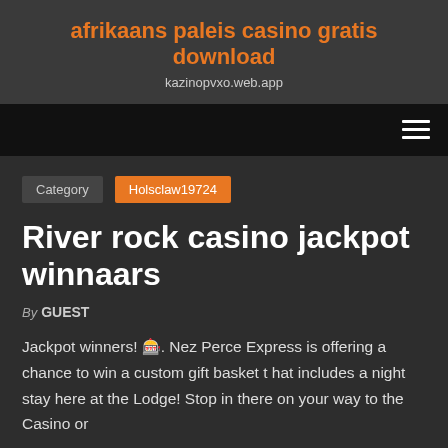afrikaans paleis casino gratis download
kazinopvxo.web.app
[Figure (other): Navigation bar with hamburger menu icon on the right]
Category  Holsclaw19724
River rock casino jackpot winnaars
By GUEST
Jackpot winners! 🎰. Nez Perce Express is offering a chance to win a custom gift basket t hat includes a night stay here at the Lodge! Stop in there on your way to the Casino or